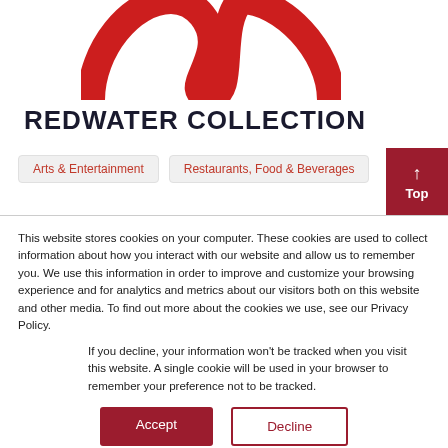[Figure (logo): Redwater Collection red wave/infinity logo mark, partial view at top]
REDWATER COLLECTION
Arts & Entertainment
Restaurants, Food & Beverages
This website stores cookies on your computer. These cookies are used to collect information about how you interact with our website and allow us to remember you. We use this information in order to improve and customize your browsing experience and for analytics and metrics about our visitors both on this website and other media. To find out more about the cookies we use, see our Privacy Policy.
If you decline, your information won’t be tracked when you visit this website. A single cookie will be used in your browser to remember your preference not to be tracked.
Accept
Decline